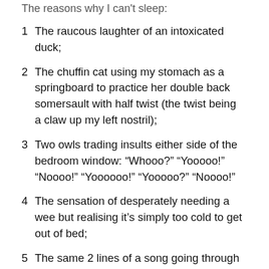The reasons why I can't sleep:
1  The raucous laughter of an intoxicated duck;
2  The chuffin cat using my stomach as a springboard to practice her double back somersault with half twist (the twist being a claw up my left nostril);
3  Two owls trading insults either side of the bedroom window: “Whooo?” “Yooooo!” “Noooo!” “Yoooooo!” “Yooooo?” “Noooo!”
4  The sensation of desperately needing a wee but realising it’s simply too cold to get out of bed;
5  The same 2 lines of a song going through my head. Playing on repeat. And I can’t for the life of me remember any more of the song. Despite the fact that I was merrily singing along to the entire song just a few hours ago;